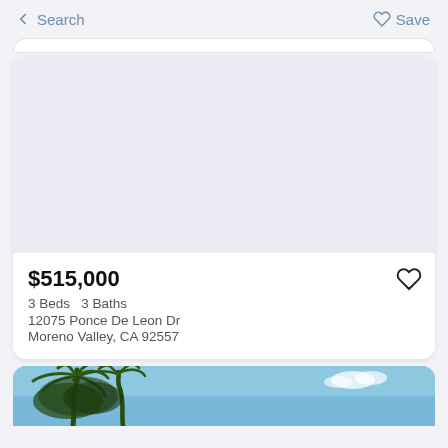← Search    ♡ Save
[Figure (photo): Light blue-gray placeholder image area for property listing photo]
$515,000
3 Beds   3 Baths
12075 Ponce De Leon Dr
Moreno Valley, CA 92557
[Figure (photo): Partial view of property exterior with palm trees and blue sky visible at bottom of screen]